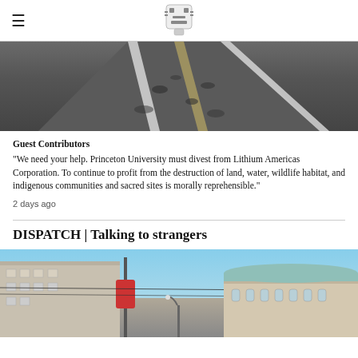≡ [logo]
[Figure (photo): Aerial view of a road or runway stretching into the distance, dark asphalt with white markings]
Guest Contributors
“We need your help. Princeton University must divest from Lithium Americas Corporation. To continue to profit from the destruction of land, water, wildlife habitat, and indigenous communities and sacred sites is morally reprehensible.”
2 days ago
DISPATCH | Talking to strangers
[Figure (photo): Street scene in a European city with tall buildings, a traffic light pole, blue sky, and classical architecture in the background]